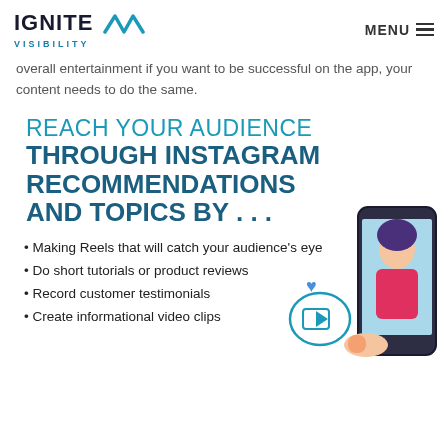IGNITE VISIBILITY | MENU
overall entertainment if you want to be successful on the app, your content needs to do the same.
REACH YOUR AUDIENCE THROUGH INSTAGRAM RECOMMENDATIONS AND TOPICS BY . . .
Making Reels that will catch your audience's eye
Do short tutorials or product reviews
Record customer testimonials
Create informational video clips
[Figure (illustration): Illustration of a person taking a selfie video with a smartphone, with social media icons around it]